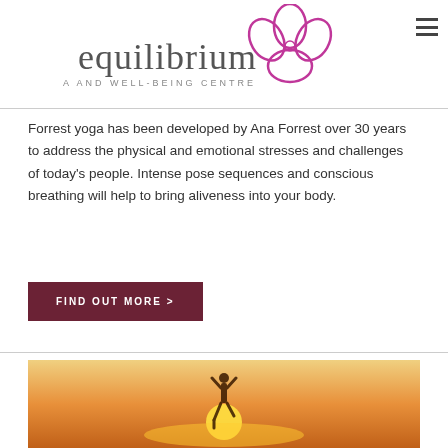[Figure (logo): Equilibrium Yoga and Well-Being Centre logo with flower graphic and text 'equilibrium YOGA AND WELL-BEING CENTRE']
Forrest yoga has been developed by Ana Forrest over 30 years to address the physical and emotional stresses and challenges of today's people. Intense pose sequences and conscious breathing will help to bring aliveness into your body.
FIND OUT MORE >
[Figure (photo): Sunset photo with yoga silhouette of person in tree pose with sun rising behind them]